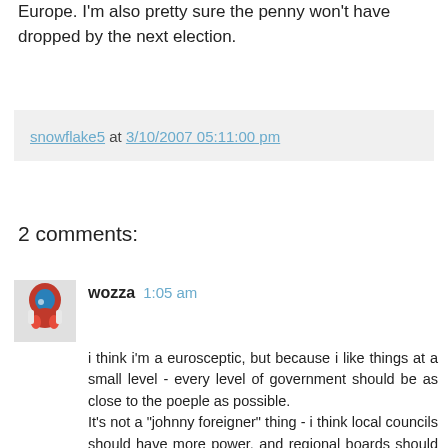Europe. I'm also pretty sure the penny won't have dropped by the next election.
snowflake5 at 3/10/2007 05:11:00 pm
2 comments:
wozza  1:05 am
i think i'm a eurosceptic, but because i like things at a small level - every level of government should be as close to the poeple as possible.
It's not a "johnny foreigner" thing - i think local councils should have more power, and regional boards should be very much more powerful than currently for wider priorites.

I don't like the idea of the Euro, i think we should keep hold of our own currency, there are chronic issues with micro managing economies on that scale - look at Americas Rustbelt as opposed to New England etc. We can barely manage in Britain to keep things in check.